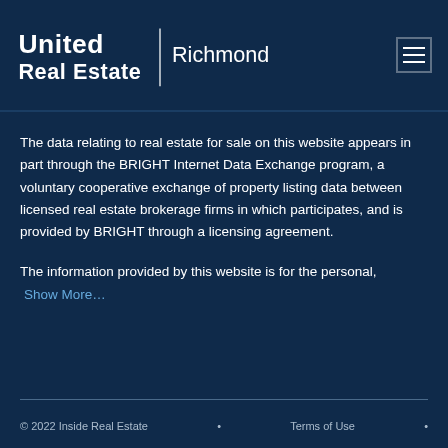[Figure (logo): United Real Estate | Richmond logo — white text on dark navy background]
The data relating to real estate for sale on this website appears in part through the BRIGHT Internet Data Exchange program, a voluntary cooperative exchange of property listing data between licensed real estate brokerage firms in which participates, and is provided by BRIGHT through a licensing agreement.
The information provided by this website is for the personal, Show More...
© 2022 Inside Real Estate   •   Terms of Use   •